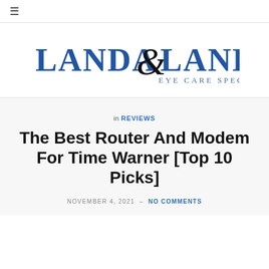≡
[Figure (logo): Landa & Landa Eye Care Specialists logo — blue serif text reading LANDA & LANDA with EYE CARE SPECIALISTS in smaller text below]
in REVIEWS
The Best Router And Modem For Time Warner [Top 10 Picks]
NOVEMBER 4, 2021 - NO COMMENTS